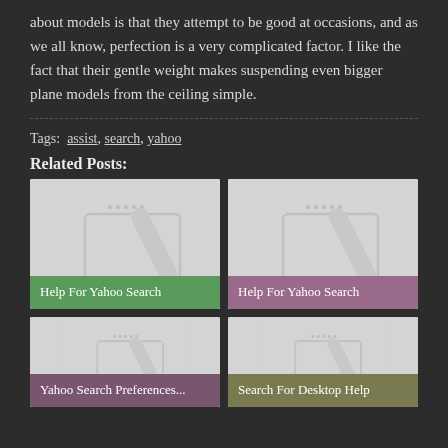about models is that they attempt to be good at occasions, and as we all know, perfection is a very complicated factor. I like the fact that their gentle weight makes suspending even bigger plane models from the ceiling simple.
Tags:  assist, search, yahoo
Related Posts:
[Figure (illustration): Card thumbnail with tablet/device icon and green label reading 'Help For Yahoo Search']
[Figure (illustration): Card thumbnail with tablet/device icon and mauve label reading 'Help For Yahoo Search']
[Figure (illustration): Card thumbnail with tablet/device icon and purple label reading 'Yahoo Search Preferences...']
[Figure (illustration): Card thumbnail with tablet/device icon and olive label reading 'Search For Desktop Help']